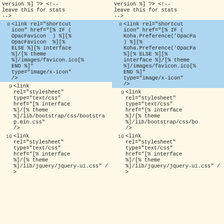Version %] ?> <!-- leave this for stats -->
<link rel="shortcut icon" href="[% IF ( OpacFavicon ) %][% OpacFavicon %][% ELSE %][% interface %]/[% theme %]/images/favicon.ico[% END %]" type="image/x-icon" />
<link rel="stylesheet" type="text/css" href="[% interface %]/[% theme %]/lib/bootstrap/css/bootstrap.min.css" />
<link rel="stylesheet" type="text/css" href="[% interface %]/[% theme %]/lib/jquery/jquery-ui.css" />
Version %] ?> <!-- leave this for stats -->
<link rel="shortcut icon" href="[% IF ( Koha.Preference('OpacFa ) %][% Koha.Preference('OpacFa %][% ELSE %][% interface %]/[% theme %]/images/favicon.ico[% END %]" type="image/x-icon" />
<link rel="stylesheet" type="text/css" href="[% interface %]/[% theme %]/lib/bootstrap/css/bo />
<link rel="stylesheet" type="text/css" href="[% interface %]/[% theme %]/lib/jquery/jquery-ui.css" />